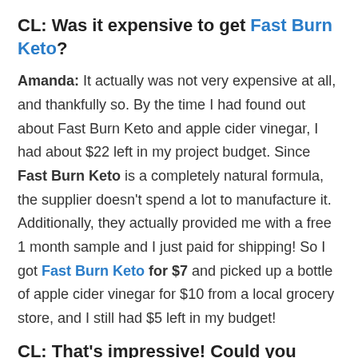CL: Was it expensive to get Fast Burn Keto?
Amanda: It actually was not very expensive at all, and thankfully so. By the time I had found out about Fast Burn Keto and apple cider vinegar, I had about $22 left in my project budget. Since Fast Burn Keto is a completely natural formula, the supplier doesn't spend a lot to manufacture it. Additionally, they actually provided me with a free 1 month sample and I just paid for shipping! So I got Fast Burn Keto for $7 and picked up a bottle of apple cider vinegar for $10 from a local grocery store, and I still had $5 left in my budget!
CL: That's impressive! Could you explain how it works?
Amanda: There isn't much to it, and that is the appeal of it all. Every morning, I made tea with 1 – 2 teaspoons of apple cider vinegar and took Fast Burn Keto with it. Other than that, I didn't